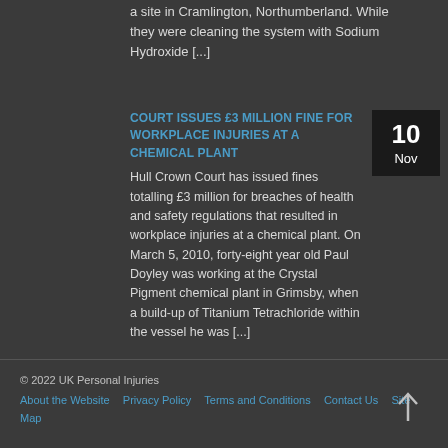a site in Cramlington, Northumberland. While they were cleaning the system with Sodium Hydroxide [...]
COURT ISSUES £3 MILLION FINE FOR WORKPLACE INJURIES AT A CHEMICAL PLANT
Hull Crown Court has issued fines totalling £3 million for breaches of health and safety regulations that resulted in workplace injuries at a chemical plant. On March 5, 2010, forty-eight year old Paul Doyley was working at the Crystal Pigment chemical plant in Grimsby, when a build-up of Titanium Tetrachloride within the vessel he was [...]
© 2022 UK Personal Injuries
About the Website · Privacy Policy · Terms and Conditions · Contact Us · Site Map